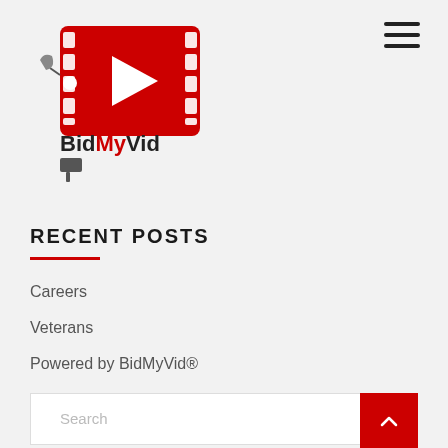BidMyVid logo and navigation
[Figure (logo): BidMyVid logo: red film strip with play button, price tag shape, with BidMyVid text below and a paint roller icon]
RECENT POSTS
Careers
Veterans
Powered by BidMyVid®
Search
About Us
Be a BidMyVid™ Client